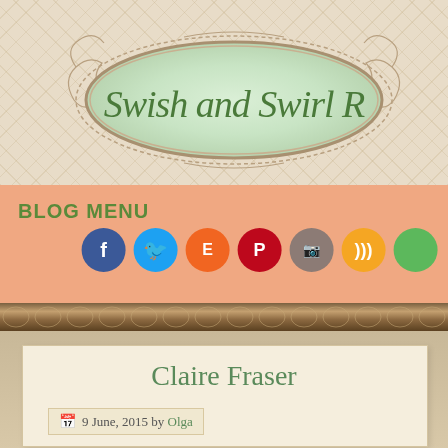[Figure (logo): Decorative oval logo frame with scrollwork on a diamond pattern background. Script text reads 'Swish and Swirl R' in green on a mint/green oval.]
BLOG MENU
[Figure (infographic): Row of 7 social media icon buttons: Facebook (blue), Twitter (light blue), Etsy (orange), Pinterest (red), Instagram (brown/grey), RSS (orange), and a green button.]
[Figure (illustration): Decorative lace/trim strip in browns and tans.]
Claire Fraser
9 June, 2015 by Olga